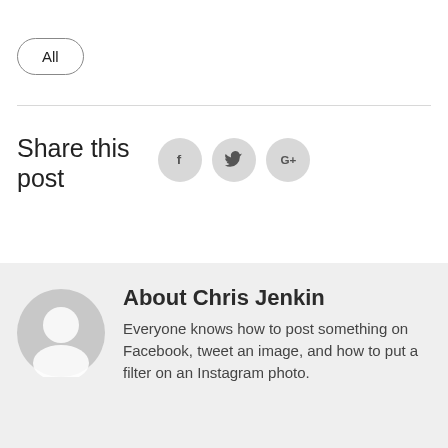All
Share this post
[Figure (other): Social share buttons: Facebook (f), Twitter (bird), Google+ (G+) icons in grey circles]
About Chris Jenkin
[Figure (illustration): Generic user avatar: grey circle with white person silhouette]
Everyone knows how to post something on Facebook, tweet an image, and how to put a filter on an Instagram photo.